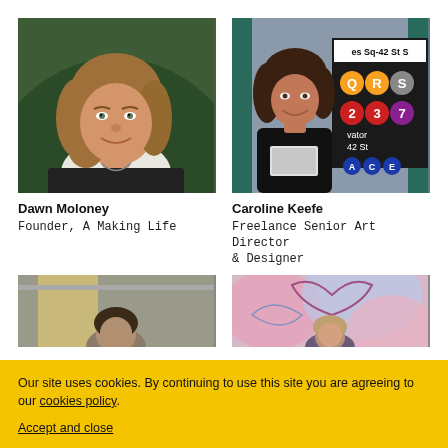[Figure (photo): Portrait of Dawn Moloney, a woman with light brown wavy hair smiling, wearing a dark top, outdoor background with greenery]
[Figure (photo): Portrait of Caroline Keefe, a woman with dark hair smiling, wearing a leather jacket holding a laptop, standing in front of NYC subway sign showing Times Sq-42 St, lines Q R S 2 3 7 A C E]
Dawn Moloney
Founder, A Making Life
Caroline Keefe
Freelance Senior Art Director & Designer
[Figure (photo): Photo of a man partially visible, urban street background]
[Figure (photo): Photo of a woman standing in front of a large floral mural with pink and blue flower illustration]
Our site uses cookies. By continuing to use this site you are agreeing to our cookies policy.
Accept and close